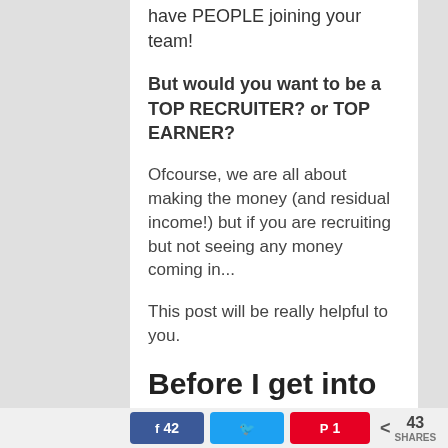have PEOPLE joining your team!
But would you want to be a TOP RECRUITER? or TOP EARNER?
Ofcourse, we are all about making the money (and residual income!) but if you are recruiting but not seeing any money coming in...
This post will be really helpful to you.
Before I get into how you don't want to be the TOP recruiter that
Facebook 42 | Twitter | Pinterest 1 | < 43 SHARES